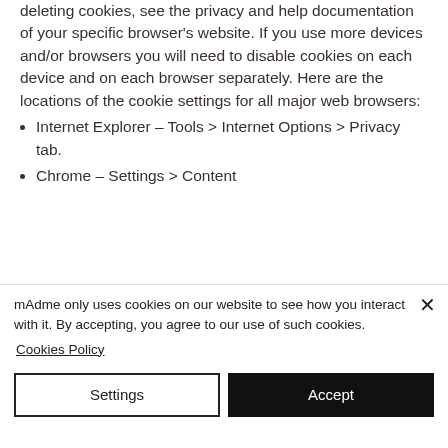deleting cookies, see the privacy and help documentation of your specific browser's website. If you use more devices and/or browsers you will need to disable cookies on each device and on each browser separately. Here are the locations of the cookie settings for all major web browsers:
Internet Explorer – Tools > Internet Options > Privacy tab.
Chrome – Settings > Content
mAdme only uses cookies on our website to see how you interact with it. By accepting, you agree to our use of such cookies.
Cookies Policy